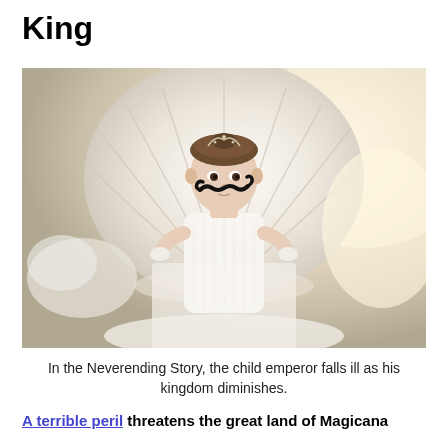King
[Figure (photo): A young child dressed in white sitting in front of a large white ornate shell-shaped throne/backdrop, with a drawn-on black mustache and a small crown/tiara. The scene is from The Neverending Story.]
In the Neverending Story, the child emperor falls ill as his kingdom diminishes.
A terrible peril threatens the great land of Magicana and its kingdom and the king. Keep in the princess of